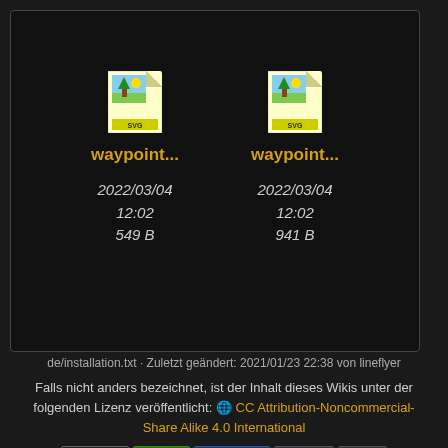[Figure (screenshot): File browser panel showing two SVG file icons labeled 'waypoint...' with metadata: 2022/03/04 12:02, sizes 549 B and 941 B]
de/installation.txt · Zuletzt geändert: 2021/01/23 22:38 von lineflyer
Falls nicht anders bezeichnet, ist der Inhalt dieses Wikis unter der folgenden Lizenz veröffentlicht: CC Attribution-Noncommercial-Share Alike 4.0 International
[Figure (other): Row of badges: CC BY-NC-SA, Donate, PHP Powered, WSC HTML5, WSC CSS, DokuWiki]